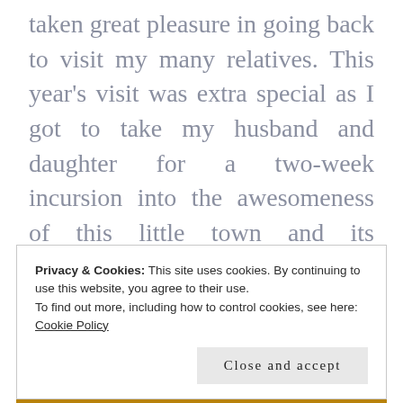taken great pleasure in going back to visit my many relatives. This year's visit was extra special as I got to take my husband and daughter for a two-week incursion into the awesomeness of this little town and its surrounding beauty. Wearing new sets of lenses – a blogger, traveller and mother always on the lookout for inspiration – I got to re-discover this
Privacy & Cookies: This site uses cookies. By continuing to use this website, you agree to their use.
To find out more, including how to control cookies, see here:
Cookie Policy
Close and accept
[Figure (photo): Bottom strip showing a partial photograph with warm golden/amber tones]